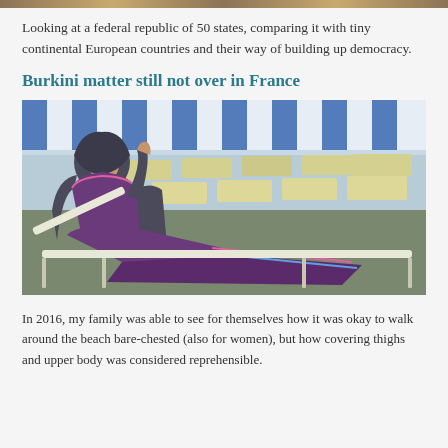[Figure (photo): Decorative header image strip at top of page]
Looking at a federal republic of 50 states, comparing it with tiny continental European countries and their way of building up democracy.
Burkini matter still not over in France
[Figure (photo): A woman wearing a burkini (full-body swimsuit with headcover in dark grey and purple with pink trim) reclining on a beach lounger, with rows of beach chairs and striped blue/white umbrellas in the background.]
In 2016, my family was able to see for themselves how it was okay to walk around the beach bare-chested (also for women), but how covering thighs and upper body was considered reprehensible.